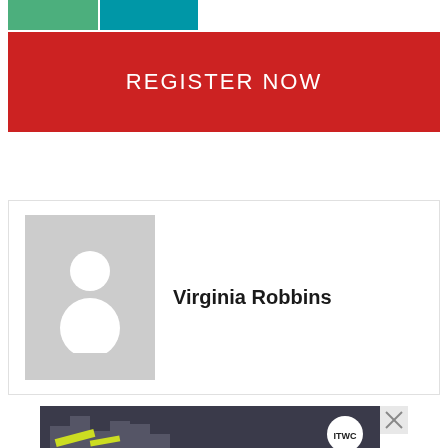[Figure (logo): Banner logo with green and teal/blue color blocks]
REGISTER NOW
[Figure (photo): Profile card with placeholder avatar (grey background, white person silhouette) and name Virginia Robbins]
Virginia Robbins
[Figure (advertisement): ITWC advertisement banner with dark background, city imagery, yellow graphic elements, and ITWC logo circle]